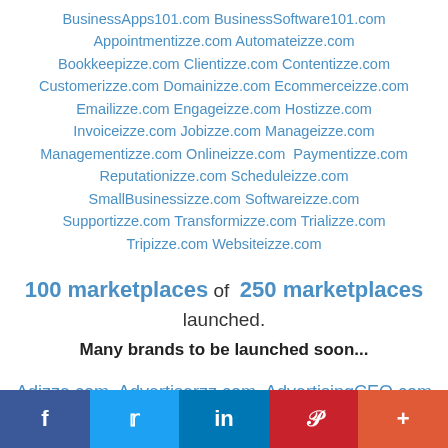BusinessApps101.com BusinessSoftware101.com Appointmentizze.com Automateizze.com Bookkeepizze.com Clientizze.com Contentizze.com Customerizze.com Domainizze.com Ecommerceizze.com Emailizze.com Engageizze.com Hostizze.com Invoiceizze.com Jobizze.com Manageizze.com Managementizze.com Onlineizze.com Paymentizze.com Reputationizze.com Scheduleizze.com SmallBusinessizze.com Softwareizze.com Supportizze.com Transformizze.com Trializze.com Tripizze.com Websiteizze.com
100 marketplaces of 250 marketplaces launched. Many brands to be launched soon...
Adizze.com, Advertiserzz.com, AdvertisingCEO.com
f  t  in  P  +